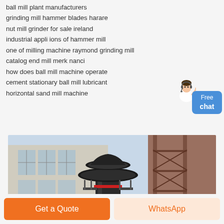ball mill plant manufacturers
grinding mill hammer blades harare
nut mill grinder for sale ireland
industrial appli ions of hammer mill
one of milling machine raymond grinding mill
catalog end mill merk nanci
how does ball mill machine operate
cement stationary ball mill lubricant
horizontal sand mill machine
[Figure (photo): Industrial ball mill or vertical grinding machine inside a large factory building with steel scaffolding and windows in the background.]
Get a Quote
WhatsApp